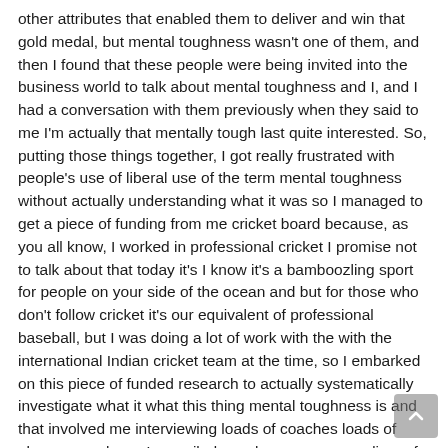other attributes that enabled them to deliver and win that gold medal, but mental toughness wasn't one of them, and then I found that these people were being invited into the business world to talk about mental toughness and I, and I had a conversation with them previously when they said to me I'm actually that mentally tough last quite interested. So, putting those things together, I got really frustrated with people's use of liberal use of the term mental toughness without actually understanding what it was so I managed to get a piece of funding from me cricket board because, as you all know, I worked in professional cricket I promise not to talk about that today it's I know it's a bamboozling sport for people on your side of the ocean and but for those who don't follow cricket it's our equivalent of professional baseball, but I was doing a lot of work with the with the international Indian cricket team at the time, so I embarked on this piece of funded research to actually systematically investigate what it what this thing mental toughness is and that involved me interviewing loads of coaches loads of players, you know I compiled, you know, a compendium of qualitative data which I am my research team then meticulously poured